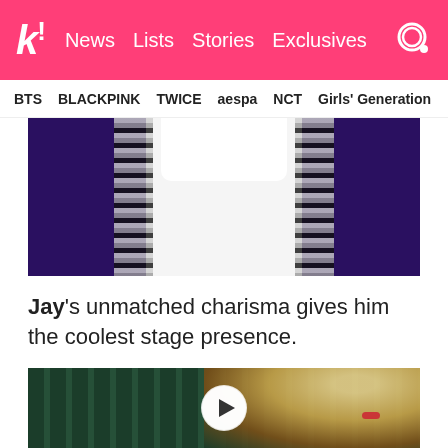k! News Lists Stories Exclusives
BTS BLACKPINK TWICE aespa NCT Girls' Generation
[Figure (photo): Close-up photo of Jay wearing a white shirt with black chain necklace against a dark purple/blue background]
Jay's unmatched charisma gives him the coolest stage presence.
[Figure (photo): Video thumbnail showing Jay with blonde hair against a dark green striped background, with a play button overlay in the center]